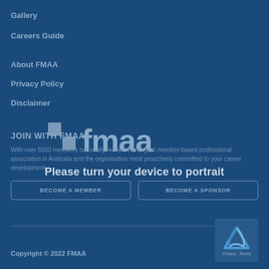Gallery
Careers Guide
About FMAA
Privacy Policy
Disclaimer
JOIN WITH FMAA
With over 5500 members nationally, we are the largest member-based professional association in Australia and the organisation most proactively committed to your career development.
BECOME A MEMBER
BECOME A SPONSOR
[Figure (logo): FMAA logo with grid icon and fmaa text in light blue/grey on dark blue background]
Please turn your device to portrait
Copyright © 2022 FMAA